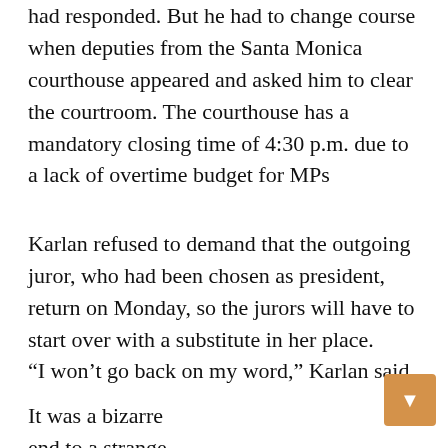had responded. But he had to change course when deputies from the Santa Monica courthouse appeared and asked him to clear the courtroom. The courthouse has a mandatory closing time of 4:30 p.m. due to a lack of overtime budget for MPs
Karlan refused to demand that the outgoing juror, who had been chosen as president, return on Monday, so the jurors will have to start over with a substitute in her place.
“I won’t go back on my word,” Karlan said.
It was a bizarre end to a strange day of jury deliberation. It began with a note to the judge